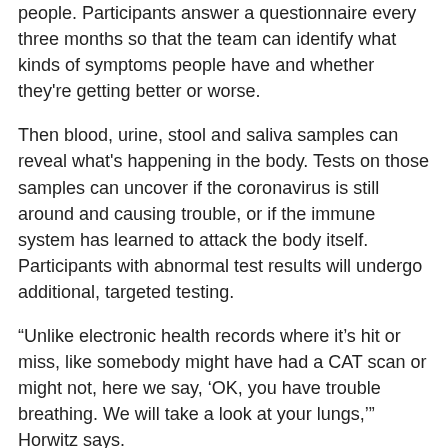people. Participants answer a questionnaire every three months so that the team can identify what kinds of symptoms people have and whether they're getting better or worse.
Then blood, urine, stool and saliva samples can reveal what's happening in the body. Tests on those samples can uncover if the coronavirus is still around and causing trouble, or if the immune system has learned to attack the body itself. Participants with abnormal test results will undergo additional, targeted testing.
“Unlike electronic health records where it’s hit or miss, like somebody might have had a CAT scan or might not, here we say, ‘OK, you have trouble breathing. We will take a look at your lungs,’” Horwitz says.
The study includes a range of participants: adults and kids, pregnant people, those currently with COVID-19 and people who died after having the disease.
Some of the potential risk factors that the team is looking for include autoimmune diseases and other viral infections. The list may grow as more people join the study. “We’re trying to balance the fishing versus making